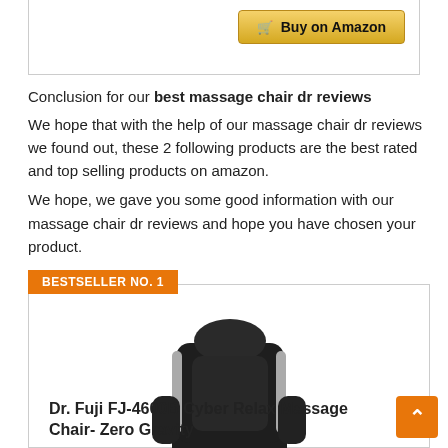[Figure (other): Buy on Amazon button with shopping cart icon, gold/yellow gradient background]
Conclusion for our best massage chair dr reviews
We hope that with the help of our massage chair dr reviews we found out, these 2 following products are the best rated and top selling products on amazon.
We hope, we gave you some good information with our massage chair dr reviews and hope you have chosen your product.
BESTSELLER NO. 1
[Figure (photo): Black massage chair (Dr. Fuji FJ-4600B Cyber Relax Massage Chair Zero Gravity) shown at an angle on white background]
Dr. Fuji FJ-4600B Cyber Relax Massage Chair- Zero Gravity